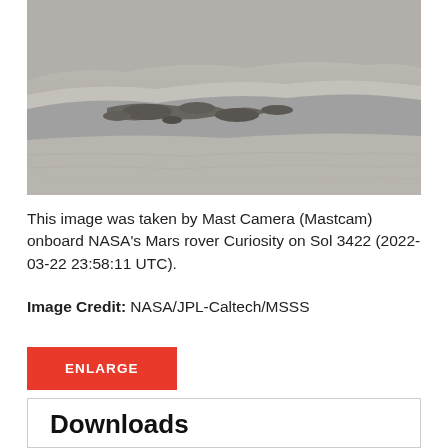[Figure (photo): Grayscale photograph of Mars surface terrain taken by Mast Camera (Mastcam) onboard NASA's Mars rover Curiosity on Sol 3422. Shows rocky, sandy Martian landscape with ridges and dark rock formations.]
This image was taken by Mast Camera (Mastcam) onboard NASA's Mars rover Curiosity on Sol 3422 (2022-03-22 23:58:11 UTC).
Image Credit: NASA/JPL-Caltech/MSSS
Downloads
Sol 3422: Mast Camera (Mastcam)